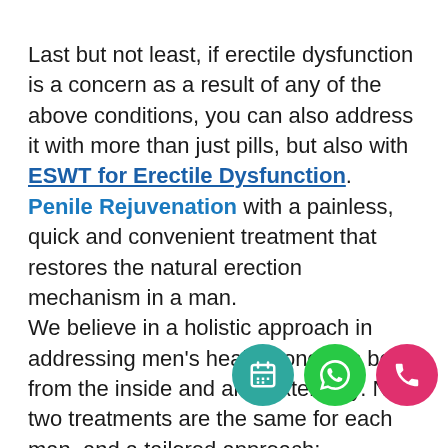Last but not least, if erectile dysfunction is a concern as a result of any of the above conditions, you can also address it with more than just pills, but also with ESWT for Erectile Dysfunction. Penile Rejuvenation with a painless, quick and convenient treatment that restores the natural erection mechanism in a man. We believe in a holistic approach in addressing men's health concerns both from the inside and also externally. No two treatments are the same for each man, and a tailored approach; understanding your concerns and addressing your worries will always be our priority. Take the first step and get a change started on your treatment journey.
[Figure (infographic): Three floating action buttons: teal calendar/schedule icon, green WhatsApp icon, pink phone icon]